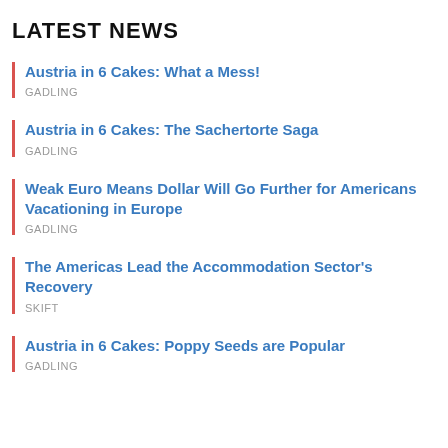LATEST NEWS
Austria in 6 Cakes: What a Mess!
GADLING
Austria in 6 Cakes: The Sachertorte Saga
GADLING
Weak Euro Means Dollar Will Go Further for Americans Vacationing in Europe
GADLING
The Americas Lead the Accommodation Sector's Recovery
SKIFT
Austria in 6 Cakes: Poppy Seeds are Popular
GADLING